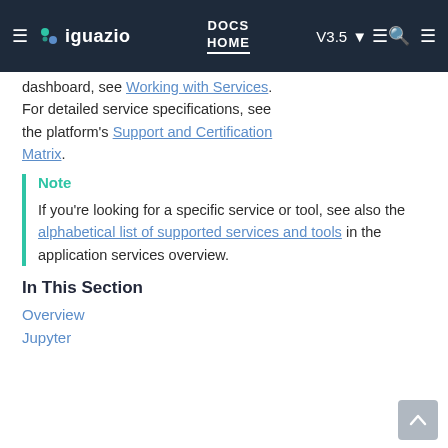DOCS HOME | V3.5 | iguazio
dashboard, see Working with Services. For detailed service specifications, see the platform's Support and Certification Matrix.
Note
If you're looking for a specific service or tool, see also the alphabetical list of supported services and tools in the application services overview.
In This Section
Overview
Jupyter